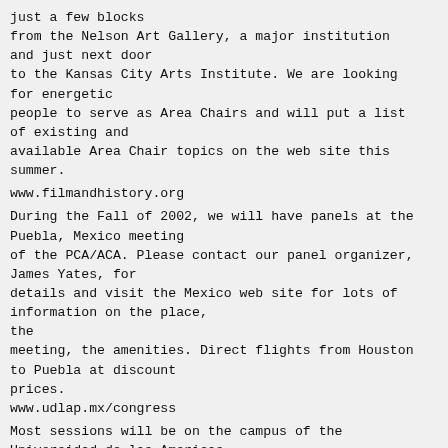just a few blocks
from the Nelson Art Gallery, a major institution
and just next door
to the Kansas City Arts Institute. We are looking
for energetic
people to serve as Area Chairs and will put a list
of existing and
available Area Chair topics on the web site this
summer.
www.filmandhistory.org
During the Fall of 2002, we will have panels at the
Puebla, Mexico meeting
of the PCA/ACA. Please contact our panel organizer,
James Yates, for
details and visit the Mexico web site for lots of
information on the place,
the
meeting, the amenities. Direct flights from Houston
to Puebla at discount
prices.
www.udlap.mx/congress
Most sessions will be on the campus of the
Universidad de las Americas
(UDLA), a school resembling San Diego State U or
other Southern